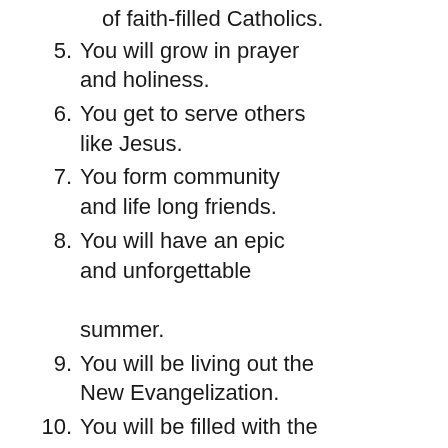of faith-filled Catholics.
5. You will grow in prayer and holiness.
6. You get to serve others like Jesus.
7. You form community and life long friends.
8. You will have an epic and unforgettable summer.
9. You will be living out the New Evangelization.
10. You will be filled with the Holy Spirit.